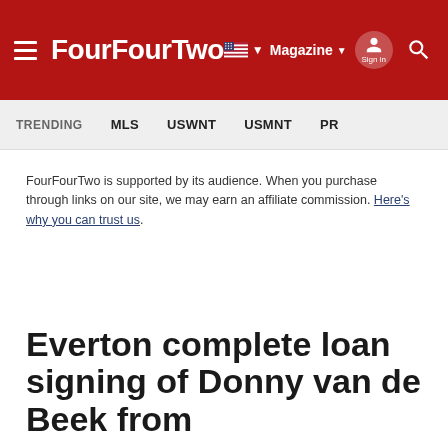FourFourTwo — Magazine | Sign in
TRENDING   MLS   USWNT   USMNT   Pr...
FourFourTwo is supported by its audience. When you purchase through links on our site, we may earn an affiliate commission. Here's why you can trust us.
Everton complete loan signing of Donny van de Beek from